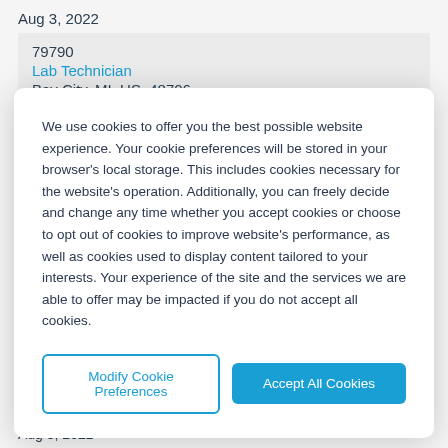Aug 3, 2022
79790
Lab Technician
Bay City, MI, US, 48706
We use cookies to offer you the best possible website experience. Your cookie preferences will be stored in your browser's local storage. This includes cookies necessary for the website's operation. Additionally, you can freely decide and change any time whether you accept cookies or choose to opt out of cookies to improve website's performance, as well as cookies used to display content tailored to your interests. Your experience of the site and the services we are able to offer may be impacted if you do not accept all cookies.
Modify Cookie Preferences
Accept All Cookies
Aug 3, 2022